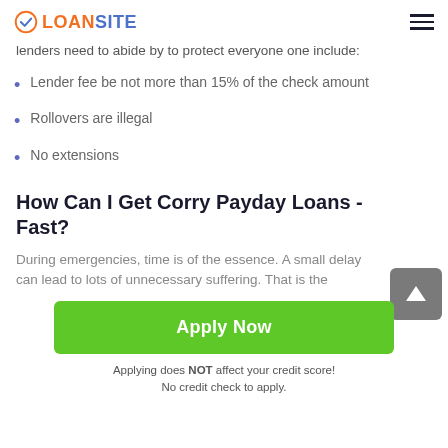LOANSITE
lenders need to abide by to protect everyone one include:
Lender fee be not more than 15% of the check amount
Rollovers are illegal
No extensions
How Can I Get Corry Payday Loans - Fast?
During emergencies, time is of the essence. A small delay can lead to lots of unnecessary suffering. That is the
[Figure (other): Scroll to top button with upward arrow icon]
Apply Now
Applying does NOT affect your credit score!
No credit check to apply.